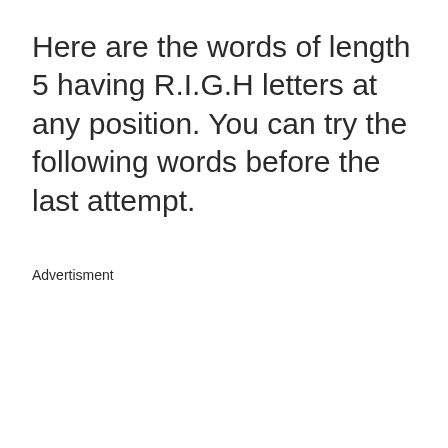Here are the words of length 5 having R.I.G.H letters at any position. You can try the following words before the last attempt.
Advertisment